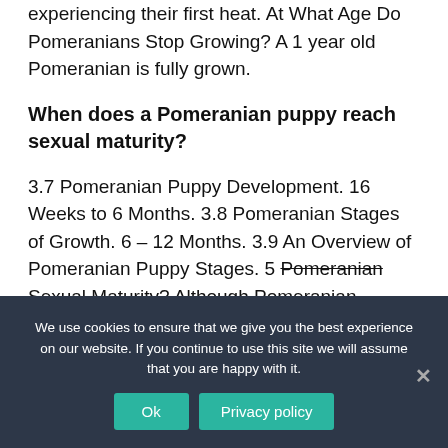experiencing their first heat. At What Age Do Pomeranians Stop Growing? A 1 year old Pomeranian is fully grown.
When does a Pomeranian puppy reach sexual maturity?
3.7 Pomeranian Puppy Development. 16 Weeks to 6 Months. 3.8 Pomeranian Stages of Growth. 6 – 12 Months. 3.9 An Overview of Pomeranian Puppy Stages. 5 Pomeranian Sexual Maturity? Although Pomeranian
We use cookies to ensure that we give you the best experience on our website. If you continue to use this site we will assume that you are happy with it.
Ok
Privacy policy